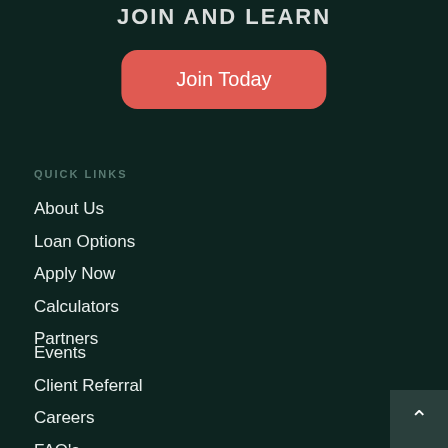JOIN AND LEARN
Join Today
QUICK LINKS
About Us
Loan Options
Apply Now
Calculators
Partners
Events
Client Referral
Careers
FAQ's